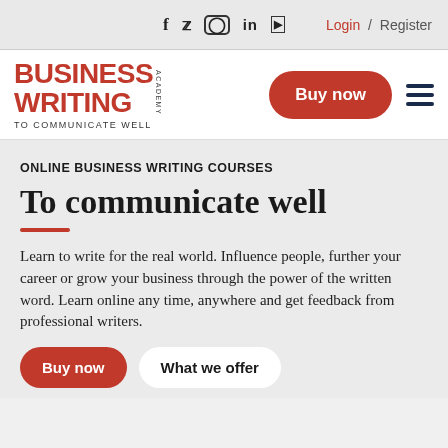f   🐦  □  in  🎥  Login / Register
[Figure (logo): Business Writing Academy logo with red text and tagline TO COMMUNICATE WELL. Buy now button and hamburger menu on the right.]
ONLINE BUSINESS WRITING COURSES
To communicate well
Learn to write for the real world. Influence people, further your career or grow your business through the power of the written word. Learn online any time, anywhere and get feedback from professional writers.
Buy now  What we offer